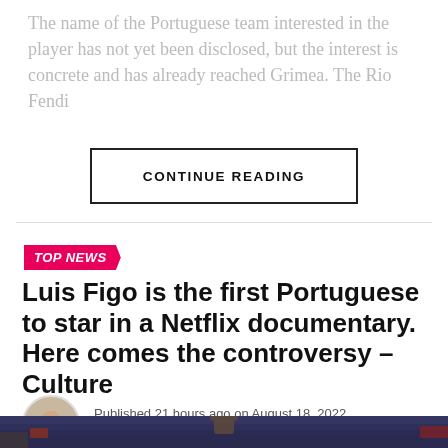The name of the Portuguese team interested in the player has not yet been disclosed, but the interest is concrete and has already reached Grimea. The Rio Fendi
CONTINUE READING
TOP NEWS
Luis Figo is the first Portuguese to star in a Netflix documentary. Here comes the controversy – Culture
Published 21 hours ago on August 18, 2022
By Herb Adkins
[Figure (photo): Bottom portion of article page showing a sports stadium background with a person visible]